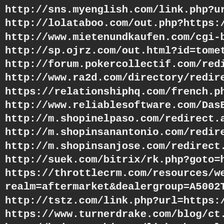http://sns.myenglish.com/link.php?url=https://sports
http://lolataboo.com/out.php?https://sportstoto7.con
http://www.mietenundkaufen.com/cgi-bin/linklist/link
http://sp.ojrz.com/out.html?id=tometuma&go=https:
http://forum.pokercollectif.com/redirect-to/?redirect
http://www.ra2d.com/directory/redirect.asp?id=596&
https://relationshiphq.com/french.php?u=https://spo
http://www.reliablesoftware.com/DasBlog/ct.ashx?id=
http://m.shopinelpaso.com/redirect.aspx?url=https:/
http://m.shopinsanantonio.com/redirect.aspx?url=htt
http://m.shopinsanjose.com/redirect.aspx?url=https:/
http://suek.com/bitrix/rk.php?goto=https://sportstot
https://throttlecrm.com/resources/webcomponents/l
realm=aftermarket&dealergroup=A5002T&link=https
http://tstz.com/link.php?url=https://sportstoto7.com,
https://www.turnerdrake.com/blog/ct.ashx?id=379lbc
http://hui.zuanshi.com/link.php?url=https://sportstot
https://www.weingut-villa.de/k2/System/Language/er